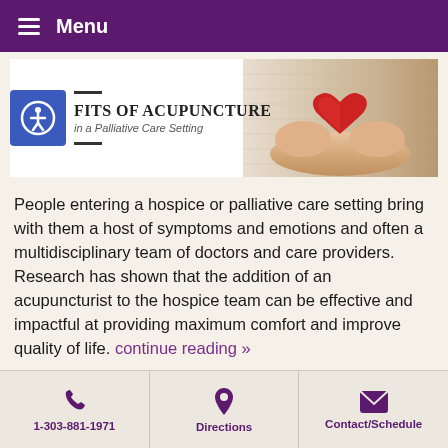Menu
[Figure (screenshot): Banner image showing text 'BENEFITS OF ACUPUNCTURE in a Palliative Care Setting' with a photo of hands holding a red heart, and an accessibility icon overlay]
People entering a hospice or palliative care setting bring with them a host of symptoms and emotions and often a multidisciplinary team of doctors and care providers. Research has shown that the addition of an acupuncturist to the hospice team can be effective and impactful at providing maximum comfort and improve quality of life. continue reading »
1-303-881-1971  Directions  Contact/Schedule